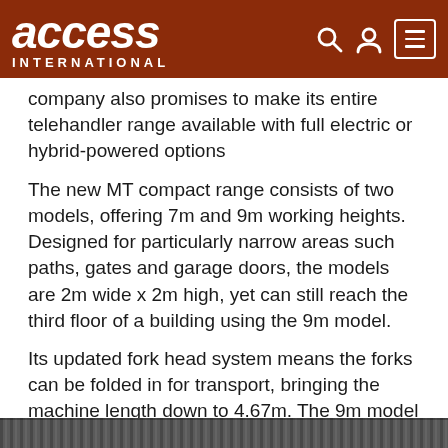access INTERNATIONAL
company also promises to make its entire telehandler range available with full electric or hybrid-powered options
The new MT compact range consists of two models, offering 7m and 9m working heights. Designed for particularly narrow areas such paths, gates and garage doors, the models are 2m wide x 2m high, yet can still reach the third floor of a building using the 9m model.
Its updated fork head system means the forks can be folded in for transport, bringing the machine length down to 4.67m. The 9m model weighs in at less than 3 tonnes, which also aids transport. In addition they offer 35cm ground clearance and 3.3m turning radius, plus hydrostatic transmission.
[Figure (photo): Bottom strip showing partial image of machinery or equipment]